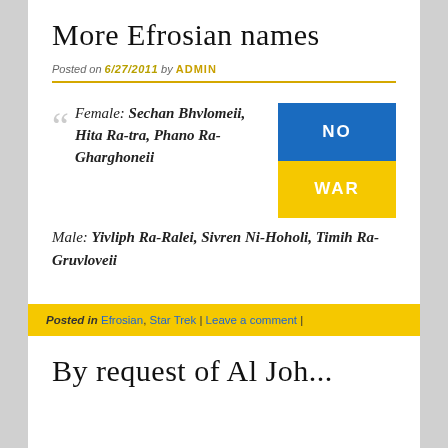More Efrosian names
Posted on 6/27/2011 by ADMIN
Female: Sechan Bhvlomeii, Hita Ra-tra, Phano Ra-Gharghoneii
[Figure (illustration): Ukrainian flag-style graphic with blue top half and yellow bottom half, text 'NO WAR' in white letters]
Male: Yivliph Ra-Ralei, Sivren Ni-Hoholi, Timih Ra-Gruvloveii
Posted in Efrosian, Star Trek | Leave a comment |
By request of Al Joh...